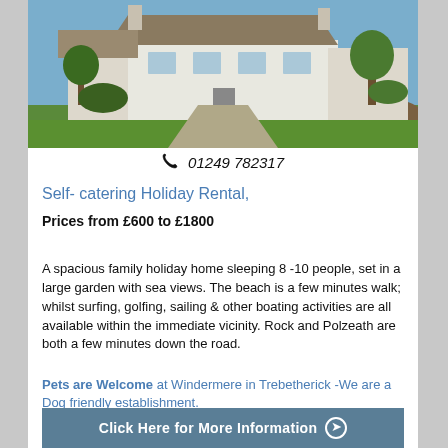[Figure (photo): Exterior view of a white bungalow holiday home with green lawn in foreground and blue sky, set in a garden with trees and shrubs]
📞 01249 782317
Self- catering Holiday Rental,
Prices from £600 to £1800
A spacious family holiday home sleeping 8 -10 people, set in a large garden with sea views. The beach is a few minutes walk; whilst surfing, golfing, sailing & other boating activities are all available within the immediate vicinity. Rock and Polzeath are both a few minutes down the road.
Pets are Welcome at Windermere in Trebetherick -We are a Dog friendly establishment.
Click Here for More Information →